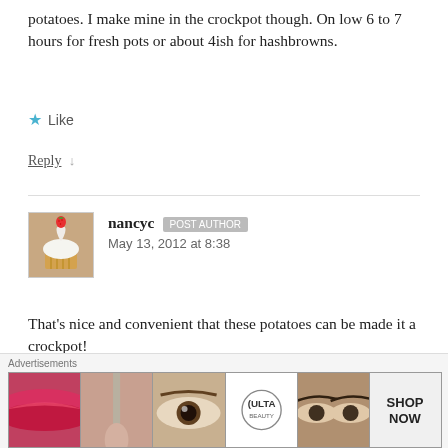potatoes. I make mine in the crockpot though. On low 6 to 7 hours for fresh pots or about 4ish for hashbrowns.
Like
Reply ↓
nancyc  POST AUTHOR
May 13, 2012 at 8:38
That's nice and convenient that these potatoes can be made it a crockpot!
Like
[Figure (other): Advertisement banner showing beauty/makeup images and ULTA logo with SHOP NOW text]